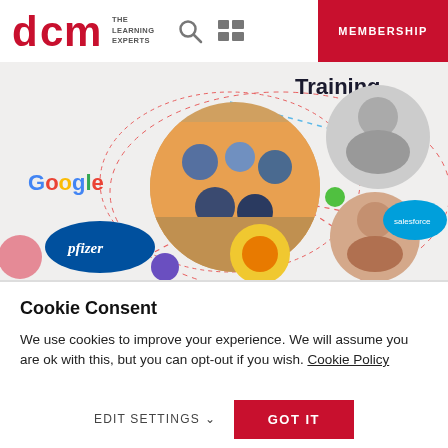[Figure (logo): DCM The Learning Experts logo in red]
[Figure (screenshot): DCM website hero section showing group photo in circle, Google logo, Pfizer logo, Salesforce logo, Enterprise Ireland logo, person photos, Training text, dashed connecting lines on light background]
Cookie Consent
We use cookies to improve your experience. We will assume you are ok with this, but you can opt-out if you wish. Cookie Policy
EDIT SETTINGS
GOT IT